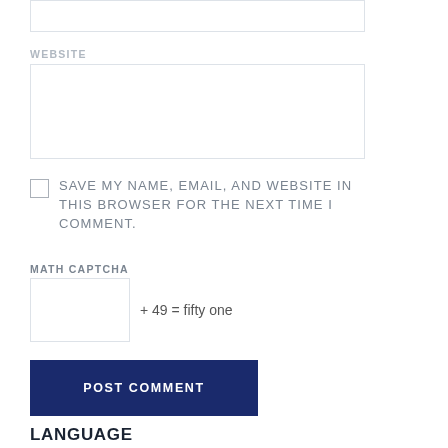WEBSITE
SAVE MY NAME, EMAIL, AND WEBSITE IN THIS BROWSER FOR THE NEXT TIME I COMMENT.
MATH CAPTCHA
+ 49 = fifty one
POST COMMENT
LANGUAGE